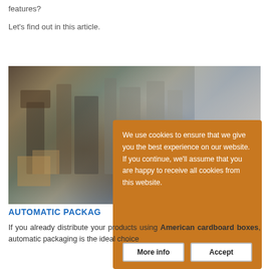features?
Let's find out in this article.
[Figure (photo): Industrial packaging machinery in a factory setting, showing automated equipment with cardboard boxes]
We use cookies to ensure that we give you the best experience on our website. If you continue, we'll assume that you are happy to receive all cookies from this website.
AUTOMATIC PACKAG
If you already distribute your products using American cardboard boxes, automatic packaging is the ideal choice